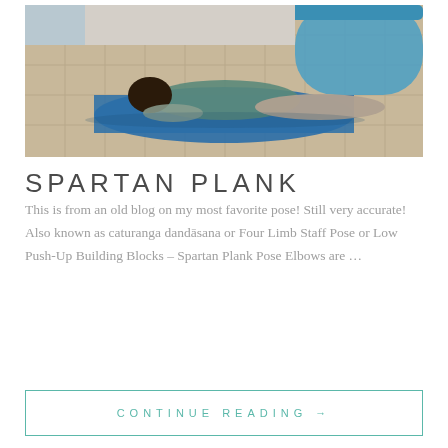[Figure (photo): Person lying face down on a blue yoga mat on a tiled floor, performing a plank or similar pose. A blue surfboard or similar object leans against the wall in the background.]
SPARTAN PLANK
This is from an old blog on my most favorite pose! Still very accurate! Also known as caturanga dandāsana or Four Limb Staff Pose or Low Push-Up Building Blocks – Spartan Plank Pose Elbows are ...
CONTINUE READING →